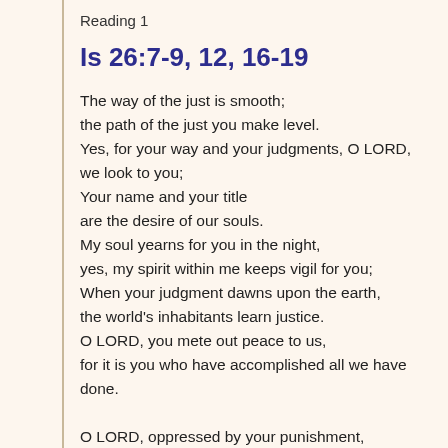Reading 1
Is 26:7-9, 12, 16-19
The way of the just is smooth;
the path of the just you make level.
Yes, for your way and your judgments, O LORD,
we look to you;
Your name and your title
are the desire of our souls.
My soul yearns for you in the night,
yes, my spirit within me keeps vigil for you;
When your judgment dawns upon the earth,
the world's inhabitants learn justice.
O LORD, you mete out peace to us,
for it is you who have accomplished all we have done.

O LORD, oppressed by your punishment,
we cried out in anguish under your chastising.
As a woman about to give birth
writhes and cries out in her pains,